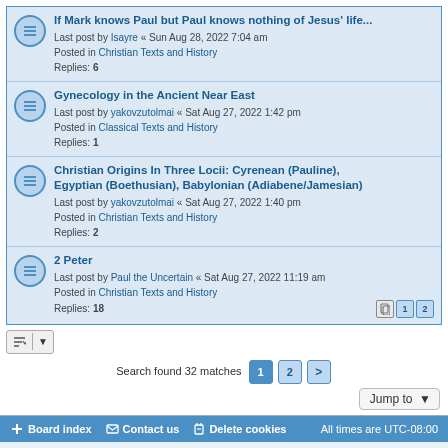If Mark knows Paul but Paul knows nothing of Jesus' life...
Last post by Isayre « Sun Aug 28, 2022 7:04 am
Posted in Christian Texts and History
Replies: 6
Gynecology in the Ancient Near East
Last post by yakovzutolmai « Sat Aug 27, 2022 1:42 pm
Posted in Classical Texts and History
Replies: 1
Christian Origins In Three Locii: Cyrenean (Pauline), Egyptian (Boethusian), Babylonian (Adiabene/Jamesian)
Last post by yakovzutolmai « Sat Aug 27, 2022 1:40 pm
Posted in Christian Texts and History
Replies: 2
2 Peter
Last post by Paul the Uncertain « Sat Aug 27, 2022 11:19 am
Posted in Christian Texts and History
Replies: 18
Search found 32 matches  1  2  >
Jump to
Board index  Contact us  Delete cookies  All times are UTC-08:00
Powered by phpBB® Forum Software © phpBB Limited